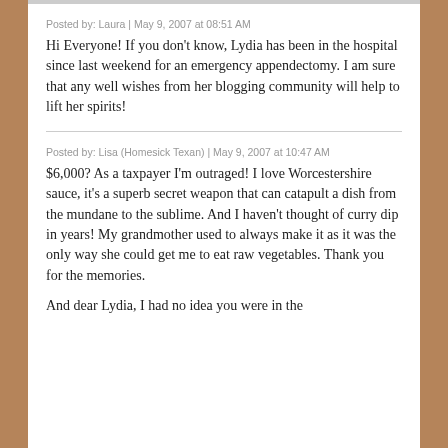Posted by: Laura | May 9, 2007 at 08:51 AM
Hi Everyone! If you don't know, Lydia has been in the hospital since last weekend for an emergency appendectomy. I am sure that any well wishes from her blogging community will help to lift her spirits!
Posted by: Lisa (Homesick Texan) | May 9, 2007 at 10:47 AM
$6,000? As a taxpayer I'm outraged! I love Worcestershire sauce, it's a superb secret weapon that can catapult a dish from the mundane to the sublime. And I haven't thought of curry dip in years! My grandmother used to always make it as it was the only way she could get me to eat raw vegetables. Thank you for the memories.
And dear Lydia, I had no idea you were in the